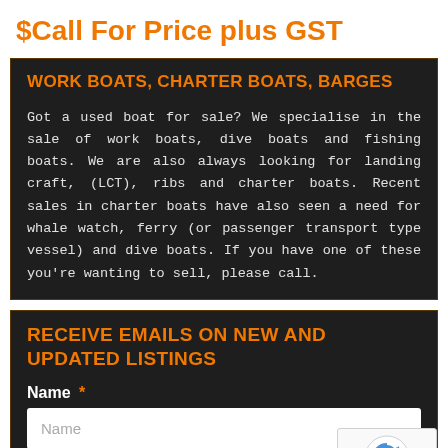$Call For Price plus GST
WORK BOATS, CHARTER BOATS, BARGES
Got a used boat for sale? We specialise in the sale of work boats, dive boats and fishing boats. We are also always looking for landing craft, (LCT), ribs and charter boats. Recent sales in charter boats have also seen a need for whale watch, ferry (or passenger transport type vessel) and dive boats. If you have one of these you're wanting to sell, please call.
RECEIVE EMAILS ON NEW AND UPDATED LISTINGS
Name *
Name